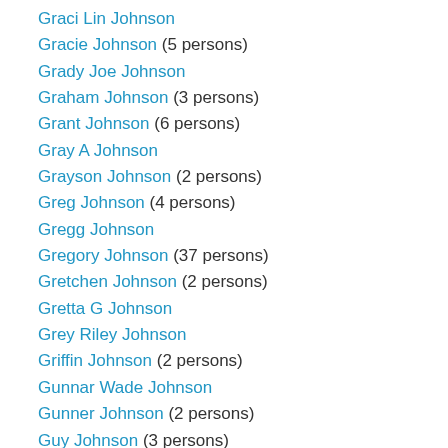Graci Lin Johnson
Gracie Johnson (5 persons)
Grady Joe Johnson
Graham Johnson (3 persons)
Grant Johnson (6 persons)
Gray A Johnson
Grayson Johnson (2 persons)
Greg Johnson (4 persons)
Gregg Johnson
Gregory Johnson (37 persons)
Gretchen Johnson (2 persons)
Gretta G Johnson
Grey Riley Johnson
Griffin Johnson (2 persons)
Gunnar Wade Johnson
Gunner Johnson (2 persons)
Guy Johnson (3 persons)
Guylene C Johnson